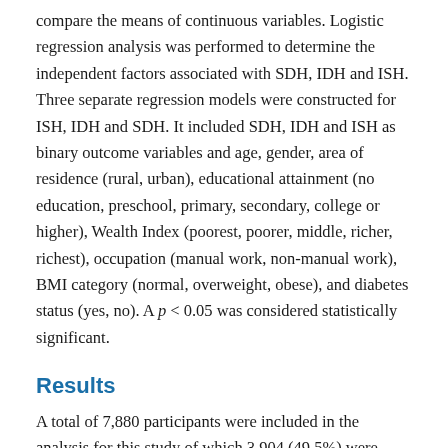compare the means of continuous variables. Logistic regression analysis was performed to determine the independent factors associated with SDH, IDH and ISH. Three separate regression models were constructed for ISH, IDH and SDH. It included SDH, IDH and ISH as binary outcome variables and age, gender, area of residence (rural, urban), educational attainment (no education, preschool, primary, secondary, college or higher), Wealth Index (poorest, poorer, middle, richer, richest), occupation (manual work, non-manual work), BMI category (normal, overweight, obese), and diabetes status (yes, no). A p < 0.05 was considered statistically significant.
Results
A total of 7,880 participants were included in the analysis for this study of which 3,904 (49.5%) were male and 3,976 (50.5%) were female. Socioeconomic, demographic and